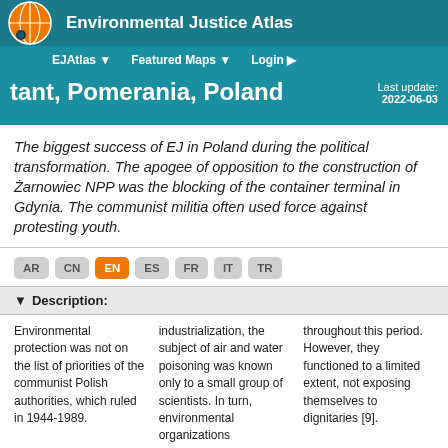Environmental Justice Atlas
EJAtlas ▼   Featured Maps ▼   Login ▶
tant, Pomerania, Poland
Last update: 2022-06-03
The biggest success of EJ in Poland during the political transformation. The apogee of opposition to the construction of Żarnowiec NPP was the blocking of the container terminal in Gdynia. The communist militia often used force against protesting youth.
AR  CN  EN  ES  FR  IT  TR
▼ Description:
Environmental protection was not on the list of priorities of the communist Polish authorities, which ruled in 1944-1989.
industrialization, the subject of air and water poisoning was known only to a small group of scientists. In turn, environmental organizations
throughout this period. However, they functioned to a limited extent, not exposing themselves to dignitaries [9].
Legal notice / Aviso legal
See more